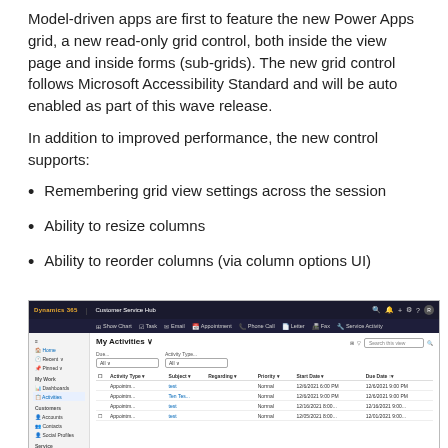Model-driven apps are first to feature the new Power Apps grid, a new read-only grid control, both inside the view page and inside forms (sub-grids). The new grid control follows Microsoft Accessibility Standard and will be auto enabled as part of this wave release.
In addition to improved performance, the new control supports:
Remembering grid view settings across the session
Ability to resize columns
Ability to reorder columns (via column options UI)
[Figure (screenshot): Screenshot of Dynamics 365 Customer Service Hub showing My Activities view with a grid of appointment records including columns for Activity Type, Subject, Regarding, Priority, Start Date, and Due Date.]